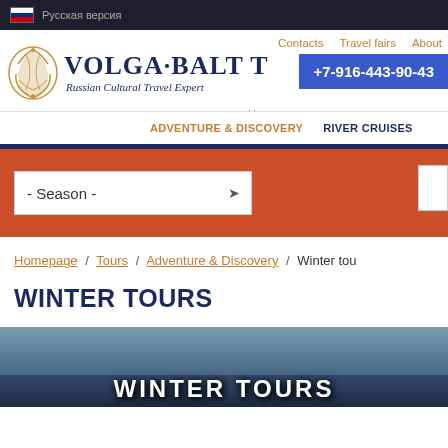Русская версия
[Figure (screenshot): Volga Balt Tours website header with logo, navigation links (Contacts, Travel fairs, About, Homepage), phone number +7-916-443-90-43, and navigation menu with ADVENTURE & DISCOVERY and RIVER CRUISES]
[Figure (screenshot): Orange filter bar with Season dropdown selector]
Homepage / Tours / Adventure & Discovery / Winter tou...
WINTER TOURS
[Figure (photo): Winter tours banner image with text WINTER TOURS overlaid in white]